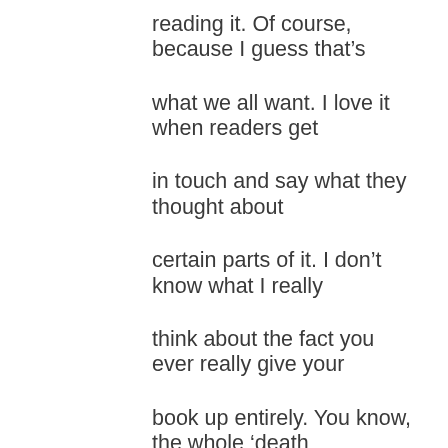reading it. Of course, because I guess that's what we all want. I love it when readers get in touch and say what they thought about certain parts of it. I don't know what I really think about the fact you ever really give your book up entirely. You know, the whole 'death of the author' Roland Barthes thing. I'm not sure I believe that. Whether that's just because the kind of fiction I write almost